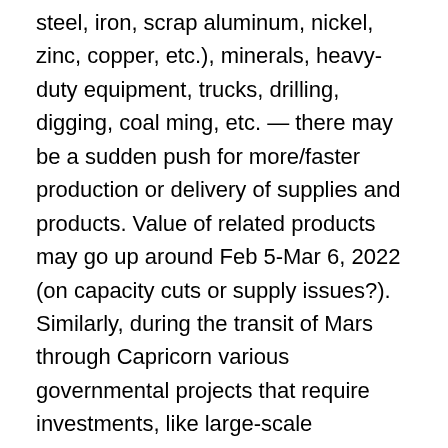steel, iron, scrap aluminum, nickel, zinc, copper, etc.), minerals, heavy-duty equipment, trucks, drilling, digging, coal ming, etc. — there may be a sudden push for more/faster production or delivery of supplies and products. Value of related products may go up around Feb 5-Mar 6, 2022 (on capacity cuts or supply issues?). Similarly, during the transit of Mars through Capricorn various governmental projects that require investments, like large-scale infrastructure projects, will likely receive support and move forward. Government shutdowns are unlikely; quite the opposite — there may be increased activities and regulations, esp. related to tariffs in international trade (esp. related to metals), mining (e.g., suspension of mines), large businesses, gun sales, police, and security. Similarly, large corporations may enact their own regulations to improve security/stability (e.g., who